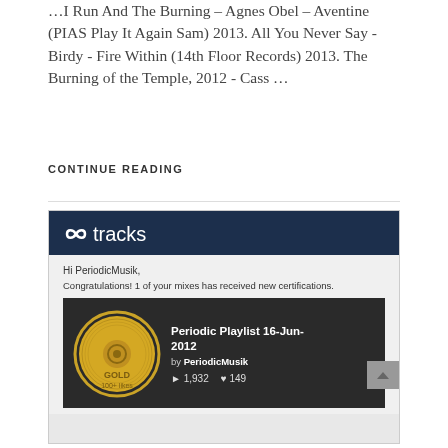…I Run And The Burning – Agnes Obel – Aventine (PIAS Play It Again Sam) 2013. All You Never Say - Birdy - Fire Within (14th Floor Records) 2013. The Burning of the Temple, 2012 - Cass …
CONTINUE READING
[Figure (screenshot): A screenshot of an 8tracks email notification showing a gold certification badge (100+ likes) for 'Periodic Playlist 16-Jun-2012' by PeriodicMusik, with 1,932 plays and 149 likes.]